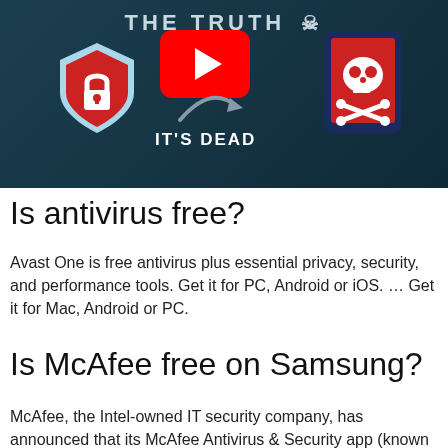[Figure (screenshot): YouTube video thumbnail with dark teal/navy background showing: text 'THE TRUTH' with skull emoji at top, a red shield with lock icon on left, YouTube play button logo in center, a curved arrow pointing right, text 'IT'S DEAD' in white, and a red phone/tablet icon with skull and crossbones on right.]
Is antivirus free?
Avast One is free antivirus plus essential privacy, security, and performance tools. Get it for PC, Android or iOS. … Get it for Mac, Android or PC.
Is McAfee free on Samsung?
McAfee, the Intel-owned IT security company, has announced that its McAfee Antivirus & Security app (known as McAfee...